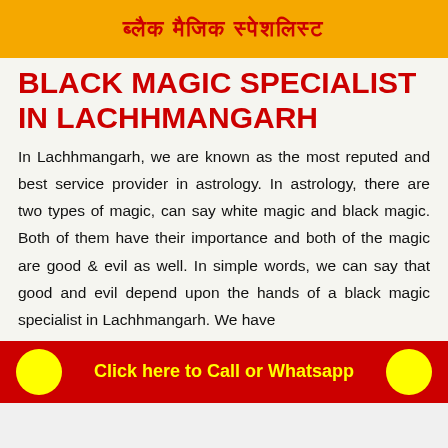ब्लैक मैजिक स्पेशलिस्ट
BLACK MAGIC SPECIALIST IN LACHHMANGARH
In Lachhmangarh, we are known as the most reputed and best service provider in astrology. In astrology, there are two types of magic, can say white magic and black magic. Both of them have their importance and both of the magic are good & evil as well. In simple words, we can say that good and evil depend upon the hands of a black magic specialist in Lachhmangarh. We have
Click here to Call or Whatsapp